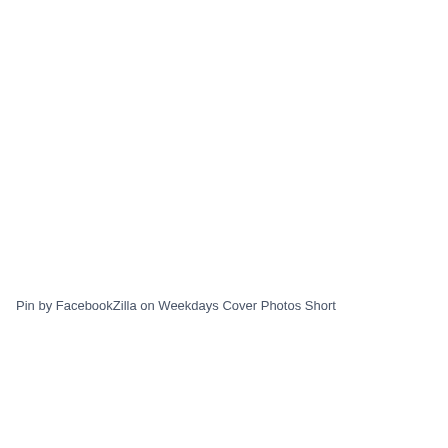Pin by FacebookZilla on Weekdays Cover Photos Short